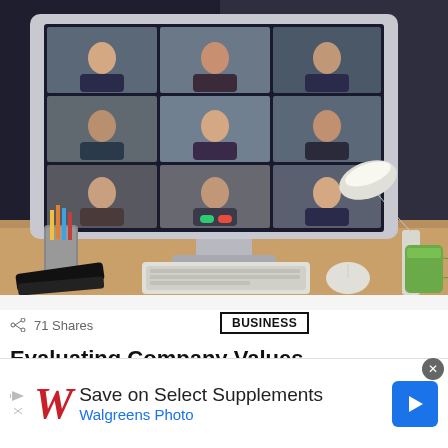[Figure (photo): A desktop computer monitor showing a video conference call with 9 participants in a grid layout. The monitor sits on a wooden desk with a keyboard, mouse, pencil holder, phone, desk lamp, and green mug in the background.]
71 Shares
BUSINESS
Evaluating Company Values
[Figure (photo): Partial view of a second article photo showing greenery/plants]
[Figure (other): Walgreens advertisement banner: Save on Select Supplements — Walgreens Photo, with Walgreens logo and navigation arrow icon]